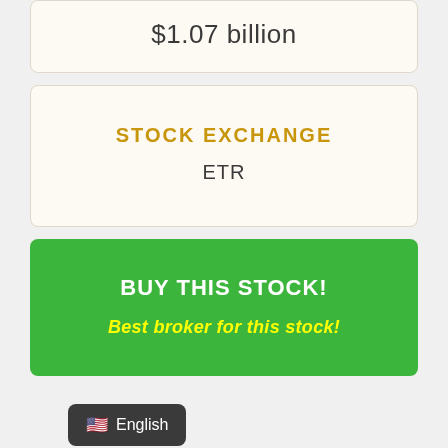$1.07 billion
STOCK EXCHANGE
ETR
BUY THIS STOCK!
Best broker for this stock!
English